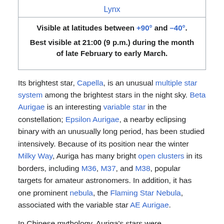| Lynx |
| Visible at latitudes between +90° and –40°. |
| Best visible at 21:00 (9 p.m.) during the month of late February to early March. |
Its brightest star, Capella, is an unusual multiple star system among the brightest stars in the night sky. Beta Aurigae is an interesting variable star in the constellation; Epsilon Aurigae, a nearby eclipsing binary with an unusually long period, has been studied intensively. Because of its position near the winter Milky Way, Auriga has many bright open clusters in its borders, including M36, M37, and M38, popular targets for amateur astronomers. In addition, it has one prominent nebula, the Flaming Star Nebula, associated with the variable star AE Aurigae.
In Chinese mythology, Auriga's stars were incorporated...